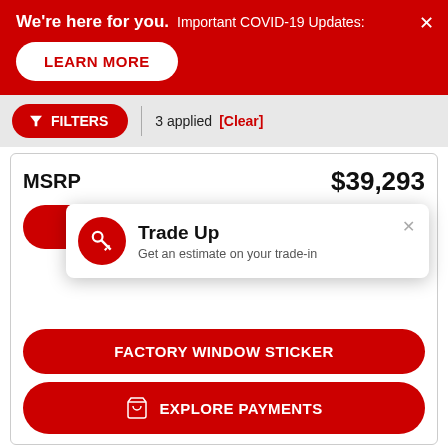We're here for you. Important COVID-19 Updates:  LEARN MORE
FILTERS  3 applied  [Clear]
MSRP  $39,293
[Figure (screenshot): Trade Up tooltip popup with key icon: 'Trade Up — Get an estimate on your trade-in']
FACTORY WINDOW STICKER
EXPLORE PAYMENTS
Contact Us  |  Request Sales Price  |  Chat  |  Call Us  |  Accessibility